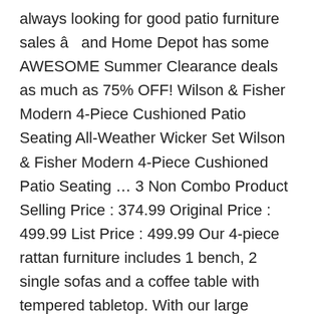always looking for good patio furniture sales â and Home Depot has some AWESOME Summer Clearance deals as much as 75% OFF! Wilson & Fisher Modern 4-Piece Cushioned Patio Seating All-Weather Wicker Set Wilson & Fisher Modern 4-Piece Cushioned Patio Seating … 3 Non Combo Product Selling Price : 374.99 Original Price : 499.99 List Price : 499.99 Our 4-piece rattan furniture includes 1 bench, 2 single sofas and a coffee table with tempered tabletop. With our large selection of home goods, you're likely to find something that you'll love. 4.4 out of 5 stars 83. Relaxing Adirondack patio chairs and hammocks are must-haves for outdoor living. DOT Furniture has 21 locations in Ontario and carries the finest selection of cast aluminum.